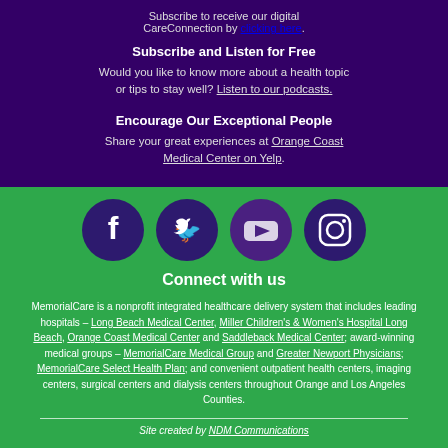Subscribe to receive our digital CareConnection by clicking here.
Subscribe and Listen for Free
Would you like to know more about a health topic or tips to stay well? Listen to our podcasts.
Encourage Our Exceptional People
Share your great experiences at Orange Coast Medical Center on Yelp.
[Figure (logo): Four social media icons: Facebook, Twitter, YouTube, Instagram in dark purple circles on green background]
Connect with us
MemorialCare is a nonprofit integrated healthcare delivery system that includes leading hospitals – Long Beach Medical Center, Miller Children's & Women's Hospital Long Beach, Orange Coast Medical Center and Saddleback Medical Center; award-winning medical groups – MemorialCare Medical Group and Greater Newport Physicians; MemorialCare Select Health Plan; and convenient outpatient health centers, imaging centers, surgical centers and dialysis centers throughout Orange and Los Angeles Counties.
Site created by NDM Communications